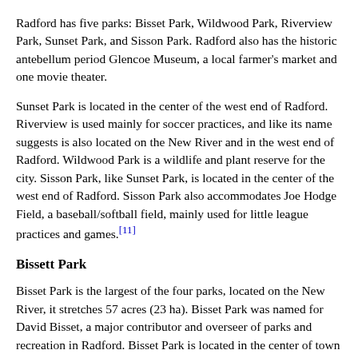Radford has five parks: Bisset Park, Wildwood Park, Riverview Park, Sunset Park, and Sisson Park. Radford also has the historic antebellum period Glencoe Museum, a local farmer's market and one movie theater.
Sunset Park is located in the center of the west end of Radford. Riverview is used mainly for soccer practices, and like its name suggests is also located on the New River and in the west end of Radford. Wildwood Park is a wildlife and plant reserve for the city. Sisson Park, like Sunset Park, is located in the center of the west end of Radford. Sisson Park also accommodates Joe Hodge Field, a baseball/softball field, mainly used for little league practices and games.[11]
Bissett Park
Bisset Park is the largest of the four parks, located on the New River, it stretches 57 acres (23 ha). Bisset Park was named for David Bisset, a major contributor and overseer of parks and recreation in Radford. Bisset Park is located in the center of town across from Wildwood Park. It features three picnic shelters, a gazebo, tennis courts, and open fields mainly used for little league soccer. The Riverway Trail is a 3.5 mile paved biking and walking path that runs from Bisset Park. From there the trail...